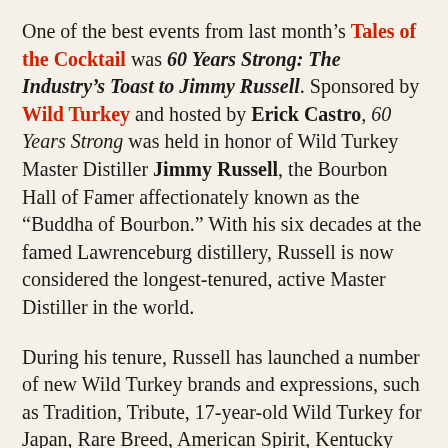One of the best events from last month's Tales of the Cocktail was 60 Years Strong: The Industry's Toast to Jimmy Russell. Sponsored by Wild Turkey and hosted by Erick Castro, 60 Years Strong was held in honor of Wild Turkey Master Distiller Jimmy Russell, the Bourbon Hall of Famer affectionately known as the "Buddha of Bourbon." With his six decades at the famed Lawrenceburg distillery, Russell is now considered the longest-tenured, active Master Distiller in the world.
During his tenure, Russell has launched a number of new Wild Turkey brands and expressions, such as Tradition, Tribute, 17-year-old Wild Turkey for Japan, Rare Breed, American Spirit, Kentucky Spirit and Russell's Reserve, which he co-created with his son Eddie Russell.
“After 60 years of making whiskey, I still love what I do